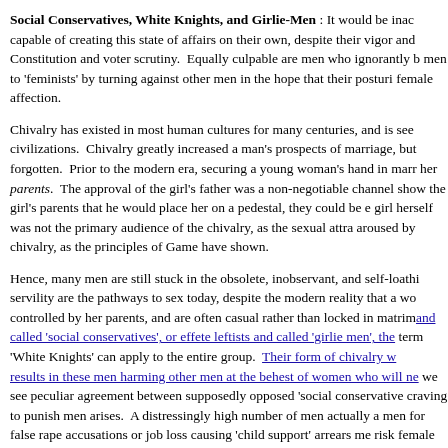Social Conservatives, White Knights, and Girlie-Men : It would be inac capable of creating this state of affairs on their own, despite their vigor and Constitution and voter scrutiny.  Equally culpable are men who ignorantly b men to 'feminists' by turning against other men in the hope that their posturi female affection.
Chivalry has existed in most human cultures for many centuries, and is see civilizations.  Chivalry greatly increased a man's prospects of marriage, but forgotten.  Prior to the modern era, securing a young woman's hand in marr her parents.  The approval of the girl's father was a non-negotiable channel show the girl's parents that he would place her on a pedestal, they could be girl herself was not the primary audience of the chivalry, as the sexual attra aroused by chivalry, as the principles of Game have shown.
Hence, many men are still stuck in the obsolete, inobservant, and self-loath servility are the pathways to sex today, despite the modern reality that a wo controlled by her parents, and are often casual rather than locked in matrim and called 'social conservatives', or effete leftists and called 'girlie men', the term 'White Knights' can apply to the entire group.  Their form of chivalry w results in these men harming other men at the behest of women who will ne we see peculiar agreement between supposedly opposed 'social conservative craving to punish men arises.  A distressingly high number of men actually men for false rape accusations or job loss causing 'child support' arrears me risk female disapproval, incorrectly assuming that fanatically vocal 'feminis women.  These men are the biggest suckers of all, as their pig-headed denia prevent them from deducing that excess agreeability and willingness to do f exactly the opposite of what makes women sexually attracted to men.  No w man.